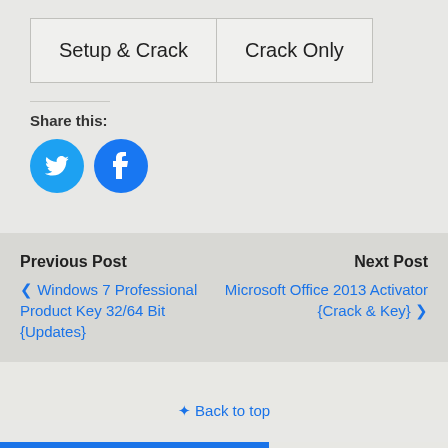Setup & Crack | Crack Only
Share this:
[Figure (illustration): Twitter and Facebook circular social share buttons in blue]
Previous Post
❮ Windows 7 Professional Product Key 32/64 Bit {Updates}
Next Post
Microsoft Office 2013 Activator {Crack & Key} ❯
⬆ Back to top